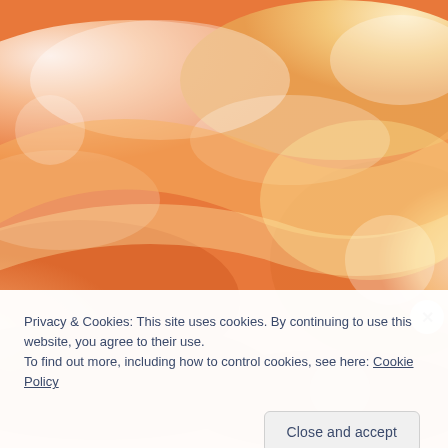[Figure (illustration): Abstract warm-toned background with swirling orange, yellow, and white soft shapes, resembling a blurred watercolor or painted sky.]
Privacy & Cookies: This site uses cookies. By continuing to use this website, you agree to their use.
To find out more, including how to control cookies, see here: Cookie Policy
Close and accept